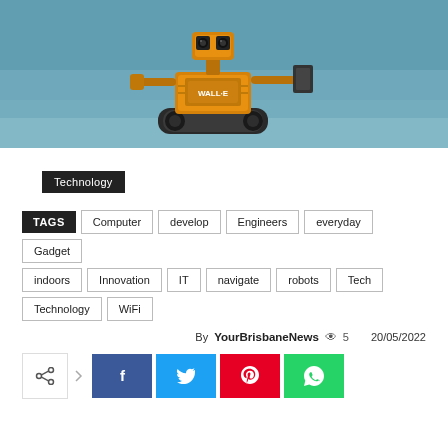[Figure (photo): Photo of a yellow WALL-E toy robot on a blurred teal/blue surface, with a mechanical arm visible on the right side.]
Technology
TAGS  Computer  develop  Engineers  everyday  Gadget  indoors  Innovation  IT  navigate  robots  Tech  Technology  WiFi
By YourBrisbaneNews  👁 5  20/05/2022
[Figure (infographic): Social share buttons row: share icon box, arrow, then Facebook (blue), Twitter (cyan), Pinterest (red), WhatsApp (green) buttons.]